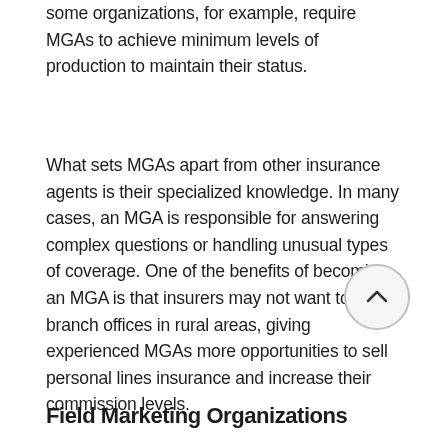some organizations, for example, require MGAs to achieve minimum levels of production to maintain their status.
What sets MGAs apart from other insurance agents is their specialized knowledge. In many cases, an MGA is responsible for answering complex questions or handling unusual types of coverage. One of the benefits of becoming an MGA is that insurers may not want to open branch offices in rural areas, giving experienced MGAs more opportunities to sell personal lines insurance and increase their commission levels.
Field Marketing Organizations